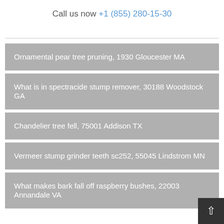Call us now +1 (855) 280-15-30
Ornamental pear tree pruning, 1930 Gloucester MA
What is in spectracide stump remover, 30188 Woodstock GA
Chandelier tree fell, 75001 Addison TX
Vermeer stump grinder teeth sc252, 55045 Lindstrom MN
What makes bark fall off raspberry bushes, 22003 Annandale VA